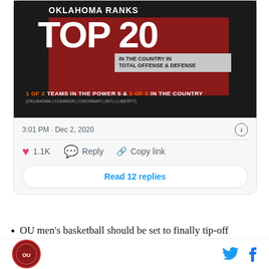[Figure (photo): Oklahoma football graphic showing 'OKLAHOMA RANKS TOP 20 IN THE COUNTRY IN TOTAL OFFENSE & DEFENSE, 1 OF 2 TEAMS IN THE POWER 5 & 1 OF 5 IN THE COUNTRY (OKLAHOMA | CLEMSON | CINCINNATI | BYU | LIBERTY)']
3:01 PM · Dec 2, 2020
♥ 1.1K   Reply   Copy link
Read 12 replies
OU men's basketball should be set to finally tip-off
Logo and social icons (Twitter, Facebook)